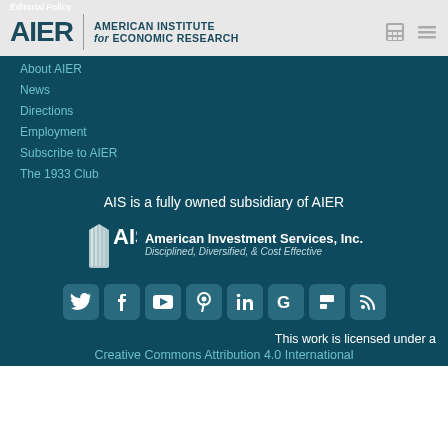Editorial Policy
AIER | AMERICAN INSTITUTE for ECONOMIC RESEARCH
About AIER
News
Directions
Employment
Subscribe to AIER
The 1933 Club
AIS is a fully owned subsidiary of AIER
[Figure (logo): AIS American Investment Services, Inc. logo with tagline: Disciplined, Diversified, & Cost Effective]
[Figure (infographic): Social media icons row: Twitter, Facebook, YouTube, Pinterest, LinkedIn, Google, Flipboard, RSS]
This work is licensed under a
Creative Commons Attribution 4.0 International